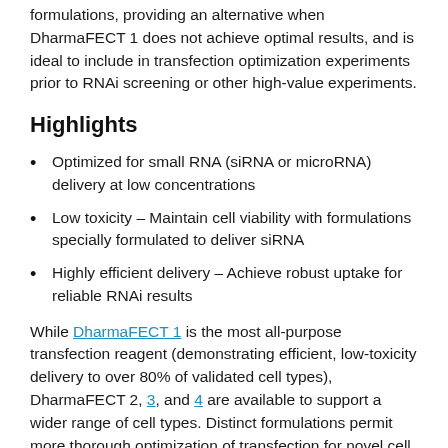formulations, providing an alternative when DharmaFECT 1 does not achieve optimal results, and is ideal to include in transfection optimization experiments prior to RNAi screening or other high-value experiments.
Highlights
Optimized for small RNA (siRNA or microRNA) delivery at low concentrations
Low toxicity – Maintain cell viability with formulations specially formulated to deliver siRNA
Highly efficient delivery – Achieve robust uptake for reliable RNAi results
While DharmaFECT 1 is the most all-purpose transfection reagent (demonstrating efficient, low-toxicity delivery to over 80% of validated cell types), DharmaFECT 2, 3, and 4 are available to support a wider range of cell types. Distinct formulations permit more thorough optimization of transfection for novel cell types, high-value experiments